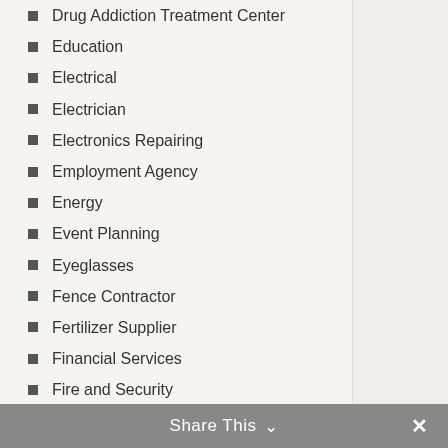Drug Addiction Treatment Center
Education
Electrical
Electrician
Electronics Repairing
Employment Agency
Energy
Event Planning
Eyeglasses
Fence Contractor
Fertilizer Supplier
Financial Services
Fire and Security
Fireplace Store
Food & Related Products
Ford Dealer
Foundation Repair